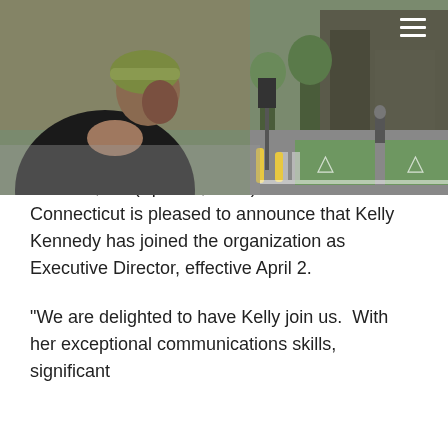[Figure (photo): Woman wearing a green bicycle helmet viewed from behind, looking at a city street intersection with green painted bicycle lanes and a pedestrian crossing. Urban setting with trees and buildings in background.]
Kelly Kennedy Joins Bike Walk Connecticut As Executive Director
4/10/2012
Hartford, CT (April 10, 2012) – Bike Walk Connecticut is pleased to announce that Kelly Kennedy has joined the organization as Executive Director, effective April 2.
“We are delighted to have Kelly join us.  With her exceptional communications skills, significant